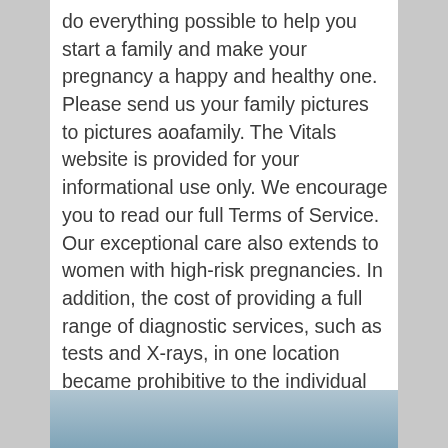do everything possible to help you start a family and make your pregnancy a happy and healthy one. Please send us your family pictures to pictures aoafamily. The Vitals website is provided for your informational use only. We encourage you to read our full Terms of Service. Our exceptional care also extends to women with high-risk pregnancies. In addition, the cost of providing a full range of diagnostic services, such as tests and X-rays, in one location became prohibitive to the individual practitioner. Physicians found it impossible to know everything about the emerging drugs and technologies on the medical landscape. Now there's a better way.
[Figure (photo): A blue-gray gradient image area visible at the bottom of the page.]